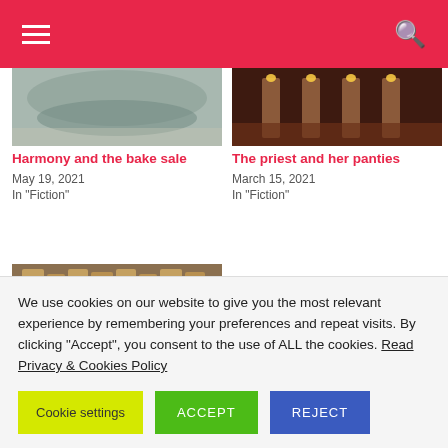Navigation bar with hamburger menu and search icon
[Figure (photo): Partial image of a baked good or food item (cropped at top)]
Harmony and the bake sale
May 19, 2021
In "Fiction"
[Figure (photo): Partial image of candles in a church setting (cropped at top)]
The priest and her panties
March 15, 2021
In "Fiction"
[Figure (photo): Interior of a Gothic church with ornate organ pipes and wooden architecture]
Hope and the confession
We use cookies on our website to give you the most relevant experience by remembering your preferences and repeat visits. By clicking "Accept", you consent to the use of ALL the cookies. Read Privacy & Cookies Policy
Cookie settings | ACCEPT | REJECT